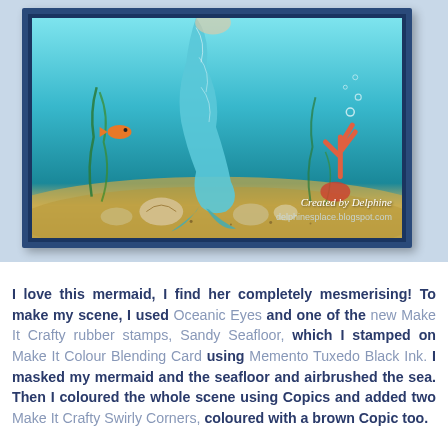[Figure (photo): Handmade craft card featuring an underwater mermaid scene. The card shows a mermaid tail in teal/blue, seaweed, a small orange fish, coral, seashells on a sandy seafloor, all colored with Copics on a blue gradient background. The card has navy blue layered borders. Watermarks read 'Created by Delphine' and 'delphinesplace.blogspot.com'. The card is displayed at an angle on a light gray background.]
I love this mermaid, I find her completely mesmerising! To make my scene, I used Oceanic Eyes and one of the new Make It Crafty rubber stamps, Sandy Seafloor, which I stamped on Make It Colour Blending Card using Memento Tuxedo Black Ink. I masked my mermaid and the seafloor and airbrushed the sea. Then I coloured the whole scene using Copics and added two Make It Crafty Swirly Corners, coloured with a brown Copic too.